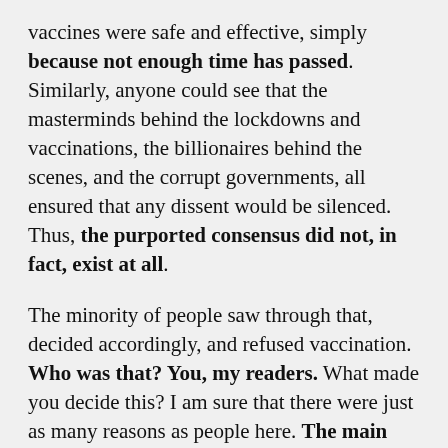vaccines were safe and effective, simply because not enough time has passed. Similarly, anyone could see that the masterminds behind the lockdowns and vaccinations, the billionaires behind the scenes, and the corrupt governments, all ensured that any dissent would be silenced. Thus, the purported consensus did not, in fact, exist at all.
The minority of people saw through that, decided accordingly, and refused vaccination. Who was that? You, my readers. What made you decide this? I am sure that there were just as many reasons as people here. The main factor is that you all took a few minutes to think about it critically. You...